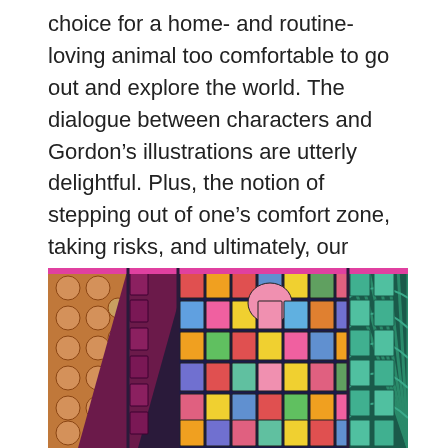choice for a home- and routine-loving animal too comfortable to go out and explore the world. The dialogue between characters and Gordon’s illustrations are utterly delightful. Plus, the notion of stepping out of one’s comfort zone, taking risks, and ultimately, our natural tendency towards familiarity all make this book a quintessential read on repeat.
[Figure (illustration): Colorful stained-glass style illustration with geometric patterns in vivid colors including orange, red, purple, yellow, blue, pink, green, and teal arranged in mosaic-like tile sections.]